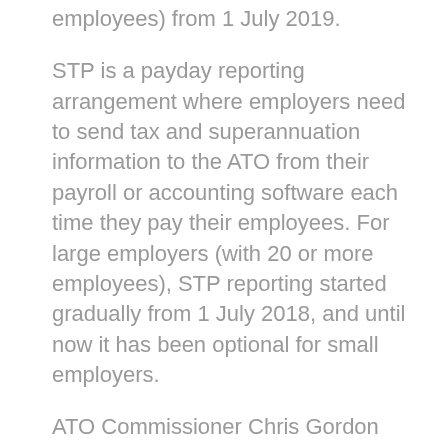employees) from 1 July 2019.
STP is a payday reporting arrangement where employers need to send tax and superannuation information to the ATO from their payroll or accounting software each time they pay their employees. For large employers (with 20 or more employees), STP reporting started gradually from 1 July 2018, and until now it has been optional for small employers.
ATO Commissioner Chris Gordon has said he wants to “reassure small business and give my personal guarantee that our approach to extending Single Touch Payroll will be flexible, reasonable and pragmatic”.